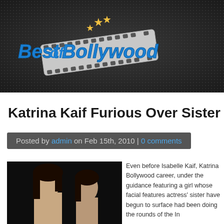[Figure (logo): Best of Bollywood logo with film strip and gold stars, blue cursive text on dark background]
Katrina Kaif Furious Over Sister
Posted by admin on Feb 15th, 2010 | 0 comments
[Figure (photo): Photo of Katrina Kaif and her sister Isabelle Kaif side by side against dark background]
Even before Isabelle Kaif, Katrina Bollywood career, under the guidance featuring a girl whose facial features actress' sister have begun to surface had been doing the rounds of the In